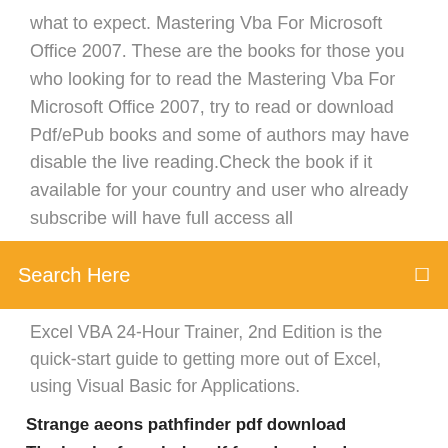what to expect. Mastering Vba For Microsoft Office 2007. These are the books for those you who looking for to read the Mastering Vba For Microsoft Office 2007, try to read or download Pdf/ePub books and some of authors may have disable the live reading.Check the book if it available for your country and user who already subscribe will have full access all
Search Here
Excel VBA 24-Hour Trainer, 2nd Edition is the quick-start guide to getting more out of Excel, using Visual Basic for Applications.
Strange aeons pathfinder pdf download
The book of symbols pdf free download
Transparent image converter download free
Download nox for pc windows 7
Download online video app
Logitech m705 mouse driver download
The challenge s29e06 download torrent kat